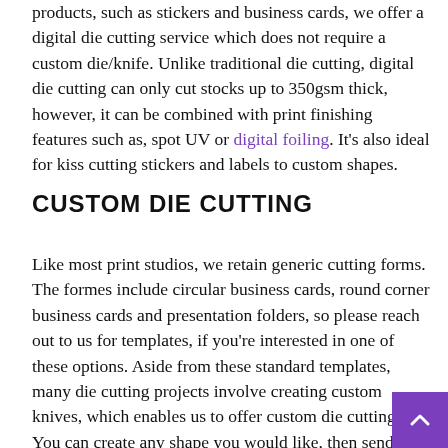products, such as stickers and business cards, we offer a digital die cutting service which does not require a custom die/knife. Unlike traditional die cutting, digital die cutting can only cut stocks up to 350gsm thick, however, it can be combined with print finishing features such as, spot UV or digital foiling. It's also ideal for kiss cutting stickers and labels to custom shapes.
CUSTOM DIE CUTTING
Like most print studios, we retain generic cutting forms. The formes include circular business cards, round corner business cards and presentation folders, so please reach out to us for templates, if you're interested in one of these options. Aside from these standard templates, many die cutting projects involve creating custom knives, which enables us to offer custom die cutting. You can create any shape you would like, then send us the artwork, so we can price the cutting forme. Generally, the more complex the shape, the more expensive the custom die cutting forme will be. We will need at least the outline of the shape to be able to provide a quote. If your custom die cutting project is only a short run and the stock is not any thicker than 350gsm, then we